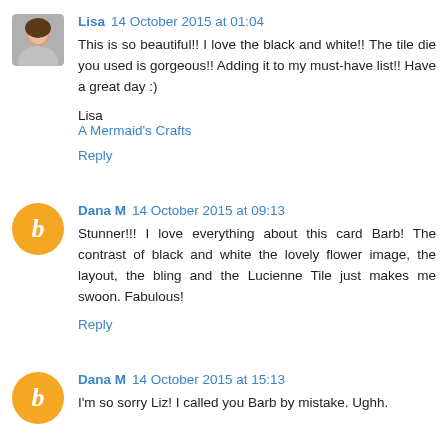Lisa 14 October 2015 at 01:04
This is so beautiful!! I love the black and white!! The tile die you used is gorgeous!! Adding it to my must-have list!! Have a great day :)
Lisa
A Mermaid's Crafts
Reply
Dana M 14 October 2015 at 09:13
Stunner!!! I love everything about this card Barb! The contrast of black and white the lovely flower image, the layout, the bling and the Lucienne Tile just makes me swoon. Fabulous!
Reply
Dana M 14 October 2015 at 15:13
I'm so sorry Liz! I called you Barb by mistake. Ughh.